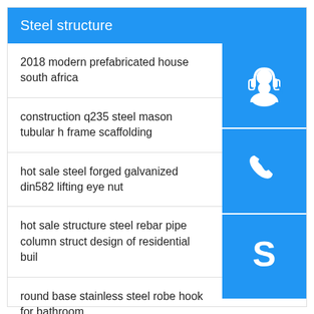Steel structure
2018 modern prefabricated house south africa
construction q235 steel mason tubular h frame scaffolding
hot sale steel forged galvanized din582 lifting eye nut
hot sale structure steel rebar pipe column struct design of residential buil
round base stainless steel robe hook for bathroom
ss100 100 building hoist double cage cargo hoist 1500